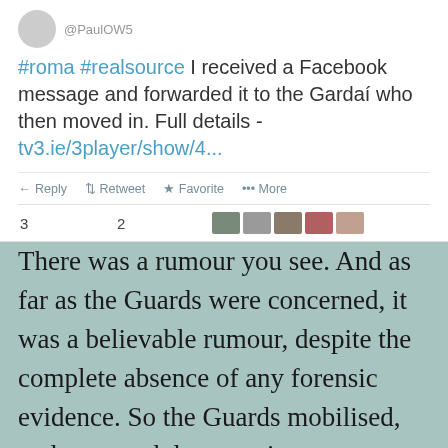[Figure (screenshot): Screenshot of a tweet by @PaulOW5 saying '#roma #realsource I received a Facebook message and forwarded it to the Gardaí who then moved in. Full details - tv3.ie/3player/show/4...' with Reply, Retweet, Favorite, More actions and stats showing 3 and 2.]
There was a rumour you see. And as far as the Guards were concerned, it was a believable rumour, despite the complete absence of any forensic evidence. So the Guards mobilised, and swooped down on innocent families. Not this week in Tallaght and the Midlands, but 17 years ago, in Donegal. The case led to...